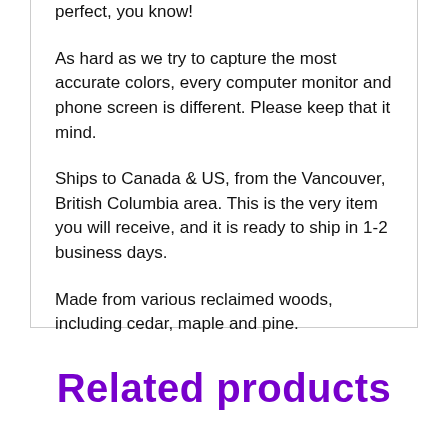perfect, you know!
As hard as we try to capture the most accurate colors, every computer monitor and phone screen is different. Please keep that it mind.
Ships to Canada & US, from the Vancouver, British Columbia area. This is the very item you will receive, and it is ready to ship in 1-2 business days.
Made from various reclaimed woods, including cedar, maple and pine.
Related products